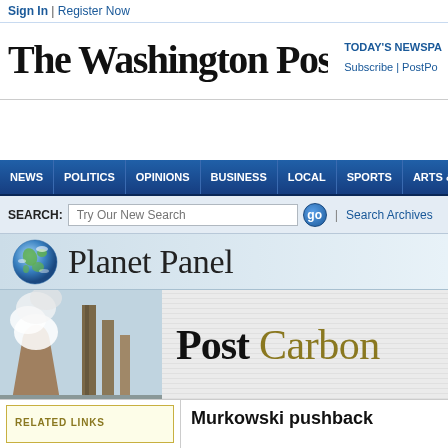Sign In | Register Now
The Washington Post
TODAY'S NEWSPA Subscribe | PostPo
NEWS | POLITICS | OPINIONS | BUSINESS | LOCAL | SPORTS | ARTS & LIVING
SEARCH: Try Our New Search  go  | Search Archives
Planet Panel
[Figure (screenshot): Smokestacks emitting white smoke against a blue sky]
Post Carbon
RELATED LINKS
Murkowski pushback